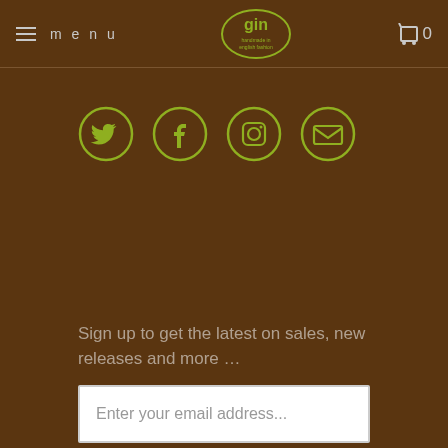menu | GIN logo | 0
[Figure (illustration): Four social media icon circles in green outline on brown background: Twitter bird, Facebook f, Instagram camera, Email envelope]
Sign up to get the latest on sales, new releases and more …
Enter your email address...
SIGN UP